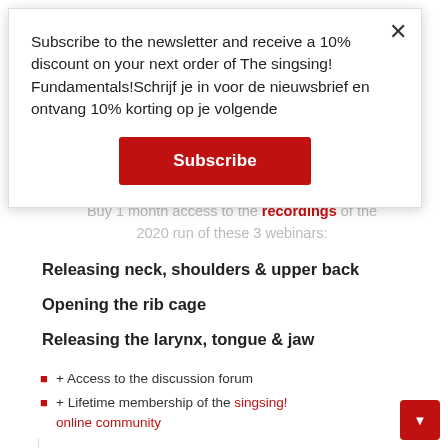Subscribe to the newsletter and receive a 10% discount on your next order of The singsing! Fundamentals!Schrijf je in voor de nieuwsbrief en ontvang 10% korting op je volgende
Subscribe
Buy 1 month access to the recordings of the 2020 run of these 3 webinars:
Releasing neck, shoulders & upper back
Opening the rib cage
Releasing the larynx, tongue & jaw
+ Access to the discussion forum
+ Lifetime membership of the singsing! online community